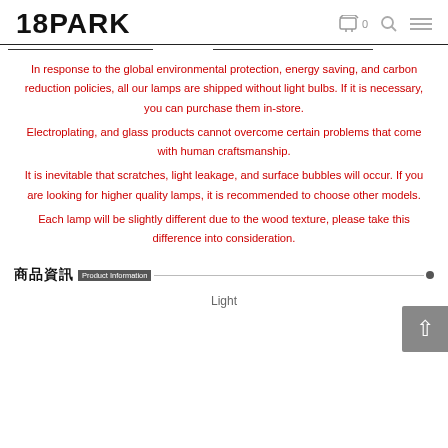18PARK
In response to the global environmental protection, energy saving, and carbon reduction policies, all our lamps are shipped without light bulbs. If it is necessary, you can purchase them in-store. Electroplating, and glass products cannot overcome certain problems that come with human craftsmanship. It is inevitable that scratches, light leakage, and surface bubbles will occur. If you are looking for higher quality lamps, it is recommended to choose other models. Each lamp will be slightly different due to the wood texture, please take this difference into consideration.
商品資訊 Product Information
Light